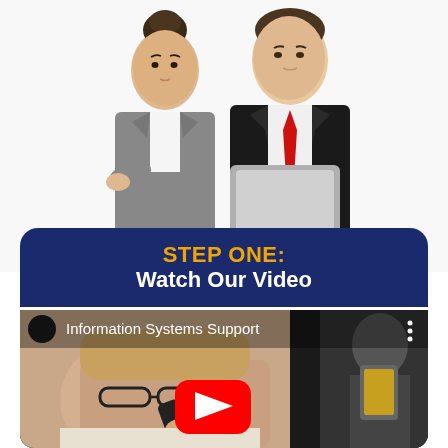[Figure (photo): Two business professionals (woman with hair up in bun and man in black suit with red tie) looking at a tablet together against white background]
STEP ONE:
Watch Our Video
[Figure (screenshot): YouTube video thumbnail showing a woman with glasses talking on the phone, labeled 'Information Systems Support', with a YouTube play button overlay]